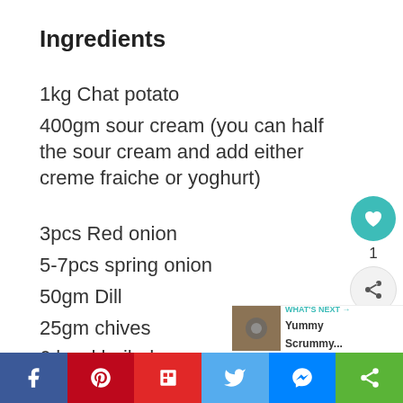Ingredients
1kg Chat potato
400gm sour cream (you can half the sour cream and add either creme fraiche or yoghurt)
3pcs Red onion
5-7pcs spring onion
50gm Dill
25gm chives
6 hard boiled eggs
Salt and white pepper
[Figure (other): Floating social action buttons: heart/like button (teal), count '1', share button]
WHAT'S NEXT → Yummy Scrummy...
[Figure (other): Social sharing bar with Facebook, Pinterest, Flipboard, Twitter, Messenger, and share buttons]